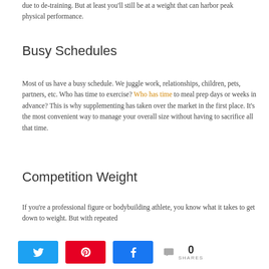due to de-training. But at least you'll still be at a weight that can harbor peak physical performance.
Busy Schedules
Most of us have a busy schedule. We juggle work, relationships, children, pets, partners, etc. Who has time to exercise? Who has time to meal prep days or weeks in advance? This is why supplementing has taken over the market in the first place. It's the most convenient way to manage your overall size without having to sacrifice all that time.
Competition Weight
If you're a professional figure or bodybuilding athlete, you know what it takes to get down to weight. But with repeated
[Figure (other): Social share bar with Twitter, Pinterest, and Facebook buttons, a share icon, count 0, and SHARES label]